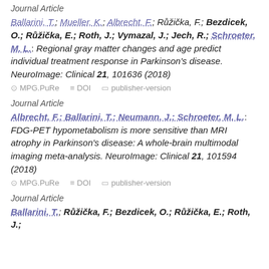Journal Article
Ballarini, T.; Mueller, K.; Albrecht, F.; Růžička, F.; Bezdicek, O.; Růžička, E.; Roth, J.; Vymazal, J.; Jech, R.; Schroeter, M. L.: Regional gray matter changes and age predict individual treatment response in Parkinson's disease. NeuroImage: Clinical 21, 101636 (2018)
MPG.PuRe   DOI   publisher-version
Journal Article
Albrecht, F.; Ballarini, T.; Neumann, J.; Schroeter, M. L.: FDG-PET hypometabolism is more sensitive than MRI atrophy in Parkinson's disease: A whole-brain multimodal imaging meta-analysis. NeuroImage: Clinical 21, 101594 (2018)
MPG.PuRe   DOI   publisher-version
Journal Article
Ballarini, T.; Růžička, F.; Bezdicek, O.; Růžička, E.; Roth, J.;